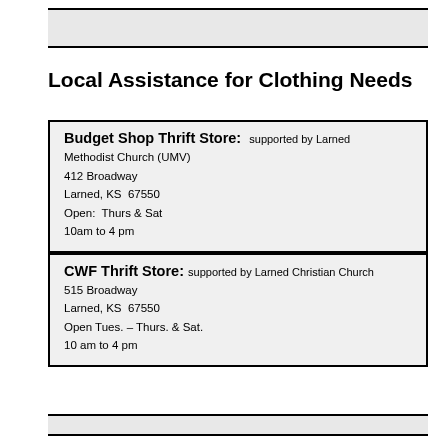Local Assistance for Clothing Needs
Budget Shop Thrift Store: supported by Larned Methodist Church (UMV)
412 Broadway
Larned, KS 67550
Open: Thurs & Sat
10am to 4 pm
CWF Thrift Store: supported by Larned Christian Church
515 Broadway
Larned, KS 67550
Open Tues. – Thurs. & Sat.
10 am to 4 pm